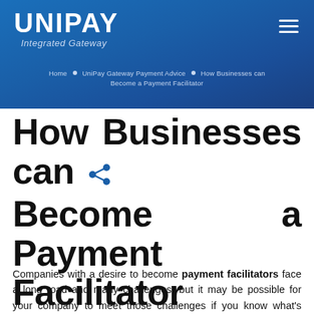[Figure (logo): UniPay Integrated Gateway logo — white bold text on blue gradient banner with hamburger menu icon]
Home · UniPay Gateway Payment Advice · How Businesses can Become a Payment Facilitator
How Businesses can Become a Payment Facilitator
Companies with a desire to become payment facilitators face a long road and many challenges, but it may be possible for your company to meet those challenges if you know what's expected and choose